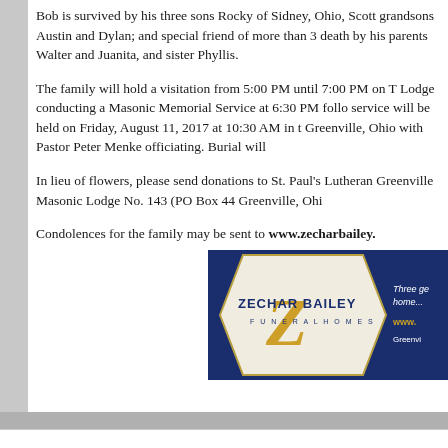Bob is survived by his three sons Rocky of Sidney, Ohio, Scott grandsons Austin and Dylan; and special friend of more than 35 death by his parents Walter and Juanita, and sister Phyllis.
The family will hold a visitation from 5:00 PM until 7:00 PM on T Lodge conducting a Masonic Memorial Service at 6:30 PM follo service will be held on Friday, August 11, 2017 at 10:30 AM in t Greenville, Ohio with Pastor Peter Menke officiating. Burial will
In lieu of flowers, please send donations to St. Paul's Lutheran Greenville Masonic Lodge No. 143 (PO Box 44 Greenville, Ohi
Condolences for the family may be sent to www.zecharbailey.
[Figure (logo): Zechar Bailey Funeral Homes logo with hexagonal emblem on light background, company name in navy blue, and tagline 'Three generations home...' with website URL and Greenvi... text on navy blue right panel]